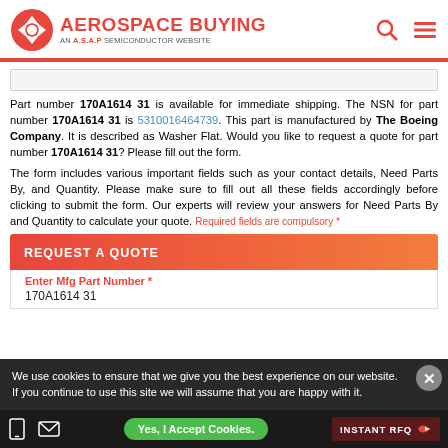AEROSPACE BUYING — AN A.S.A.P SEMICONDUCTOR WEBSITE
Part number 170A1614 31 is available for immediate shipping. The NSN for part number 170A1614 31 is 5310016464739. This part is manufactured by The Boeing Company. It is described as Washer Flat. Would you like to request a quote for part number 170A1614 31? Please fill out the form.
The form includes various important fields such as your contact details, Need Parts By, and Quantity. Please make sure to fill out all these fields accordingly before clicking to submit the form. Our experts will review your answers for Need Parts By and Quantity to calculate your quote. Required fields are compulsory *
REQUEST A QUOTE
Enter Mfg Part Number *
170A1614 31